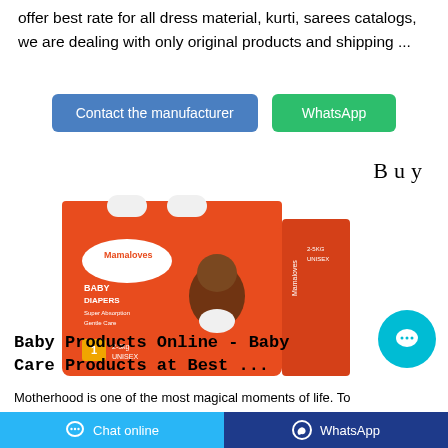offer best rate for all dress material, kurti, sarees catalogs, we are dealing with only original products and shipping ...
Contact the manufacturer | WhatsApp
Buy
[Figure (photo): Mamaloves Baby Diapers product box, orange packaging, size 1, 2-5kg, Unisex, with image of a baby]
Baby Products Online - Baby Care Products at Best ...
Motherhood is one of the most magical moments of life. To
Chat online | WhatsApp